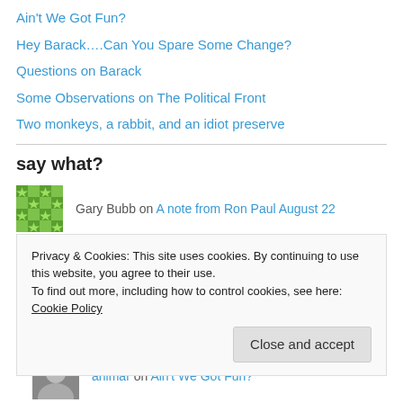Ain't We Got Fun?
Hey Barack….Can You Spare Some Change?
Questions on Barack
Some Observations on The Political Front
Two monkeys, a rabbit, and an idiot preserve
say what?
Gary Bubb on A note from Ron Paul August 22
joe on More road rage stories
Privacy & Cookies: This site uses cookies. By continuing to use this website, you agree to their use. To find out more, including how to control cookies, see here: Cookie Policy
Close and accept
animar on Ain't We Got Fun?